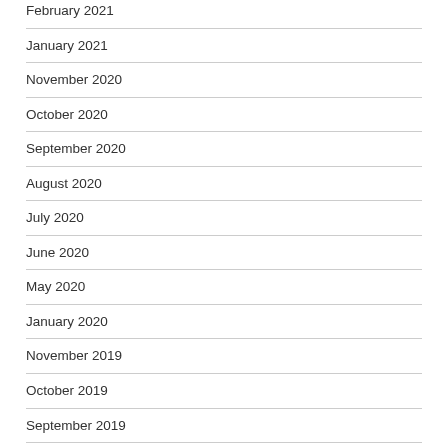February 2021
January 2021
November 2020
October 2020
September 2020
August 2020
July 2020
June 2020
May 2020
January 2020
November 2019
October 2019
September 2019
July 2019